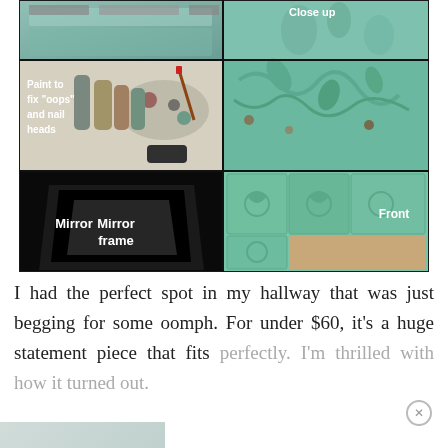[Figure (photo): Photo collage of a DIY mirror frame project showing: top-left partial shot of tiles, top-right labeled 'Close up' showing teal embossed decorative tile detail, middle-left labeled 'Paint to fix oops and nail heads' showing paint bottles and palette, middle-right showing close-up of green embossed decorative tile pattern, bottom-left labeled 'Mirror frame' showing black mirror frame, bottom-right labeled 'Front' showing green tiled decorative mirror frame from front]
I had the perfect spot in my hallway that was just begging for some oomph. For under $60, it's a huge statement piece that fits perfectly. I'm thrilled with how it turned out.